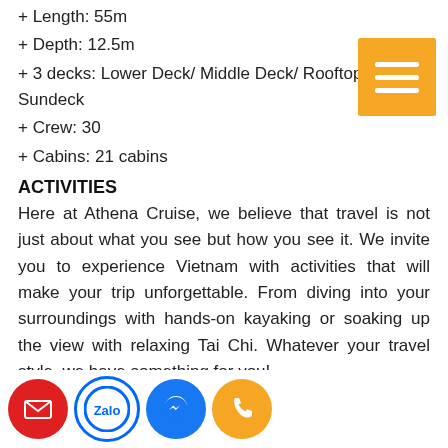+ Length: 55m
+ Depth: 12.5m
+ 3 decks: Lower Deck/ Middle Deck/ Rooftop Sundeck
+ Crew: 30
+ Cabins: 21 cabins
ACTIVITIES
Here at Athena Cruise, we believe that travel is not just about what you see but how you see it. We invite you to experience Vietnam with activities that will make your trip unforgettable. From diving into your surroundings with hands-on kayaking or soaking up the view with relaxing Tai Chi. Whatever your travel style, we have something for you!
THIEN CANH SON CAVE
Discover a mysterious ancient cave hidden beneath wild forest canopy and naturally chiseled stone. Explore the three vast chambers of the cave, a real-life dream world filled with age-old stalagmites, stalactites and surreal rock formations.
[Figure (infographic): Orange hamburger menu button with three white horizontal lines]